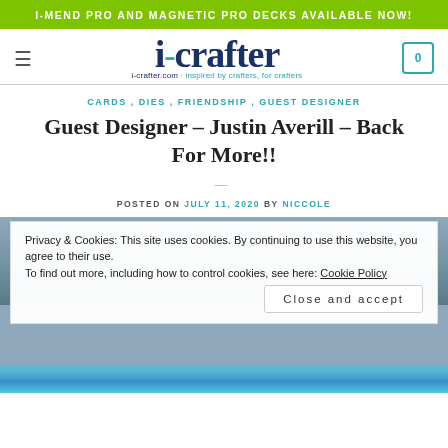I-MEND PRO AND MAGNETIC PRO DECKS AVAILABLE NOW!
[Figure (logo): i-crafter logo with hamburger menu and cart icon]
CARDS, DIES, FRIENDSHIP, GUEST DESIGNER
Guest Designer – Justin Averill – Back For More!!
POSTED ON JULY 11, 2020 BY NICCOLE
[Figure (screenshot): Cookie consent banner overlay on page]
Privacy & Cookies: This site uses cookies. By continuing to use this website, you agree to their use.
To find out more, including how to control cookies, see here: Cookie Policy
Close and accept